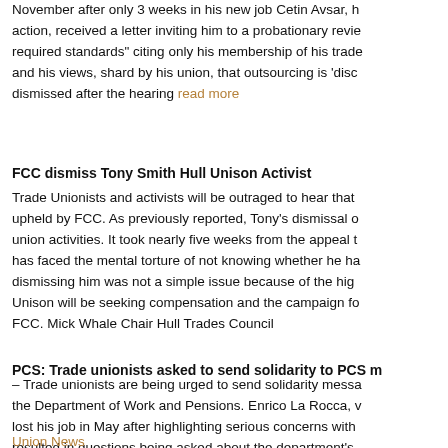November after only 3 weeks in his new job Cetin Avsar, h action, received a letter inviting him to a probationary revie required standards" citing only his membership of his trade and his views, shard by his union, that outsourcing is 'disc dismissed after the hearing read more
FCC dismiss Tony Smith Hull Unison Activist
Trade Unionists and activists will be outraged to hear that upheld by FCC. As previously reported, Tony's dismissal o union activities. It took nearly five weeks from the appeal t has faced the mental torture of not knowing whether he ha dismissing him was not a simple issue because of the high Unison will be seeking compensation and the campaign fo FCC. Mick Whale Chair Hull Trades Council
PCS: Trade unionists asked to send solidarity to PCS m
– Trade unionists are being urged to send solidarity messa the Department of Work and Pensions. Enrico La Rocca, v lost his job in May after highlighting serious concerns with resulted in questions being asked about the department's National Audit Office (NAO) and raised by in a Work and P
Union News